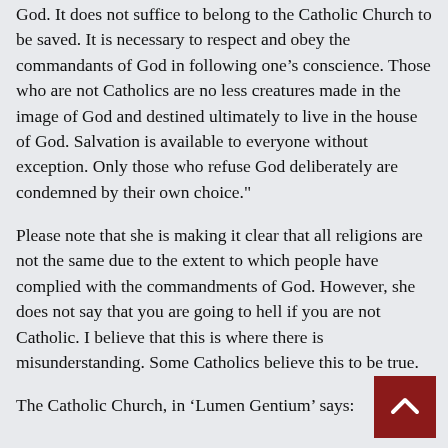God. It does not suffice to belong to the Catholic Church to be saved. It is necessary to respect and obey the commandants of God in following one's conscience. Those who are not Catholics are no less creatures made in the image of God and destined ultimately to live in the house of God. Salvation is available to everyone without exception. Only those who refuse God deliberately are condemned by their own choice."
Please note that she is making it clear that all religions are not the same due to the extent to which people have complied with the commandments of God. However, she does not say that you are going to hell if you are not Catholic. I believe that this is where there is misunderstanding. Some Catholics believe this to be true.
The Catholic Church, in ‘Lumen Gentium’ says: